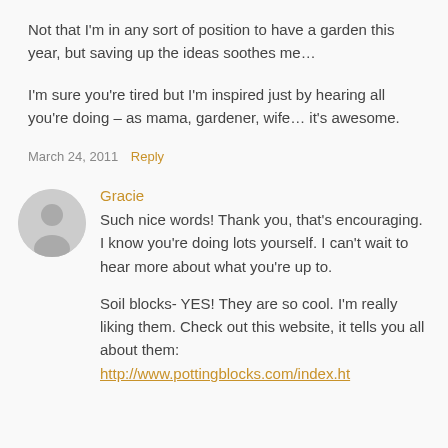Not that I'm in any sort of position to have a garden this year, but saving up the ideas soothes me…
I'm sure you're tired but I'm inspired just by hearing all you're doing – as mama, gardener, wife… it's awesome.
March 24, 2011  Reply
Gracie
Such nice words! Thank you, that's encouraging. I know you're doing lots yourself. I can't wait to hear more about what you're up to.
Soil blocks- YES! They are so cool. I'm really liking them. Check out this website, it tells you all about them:
http://www.pottingblocks.com/index.ht